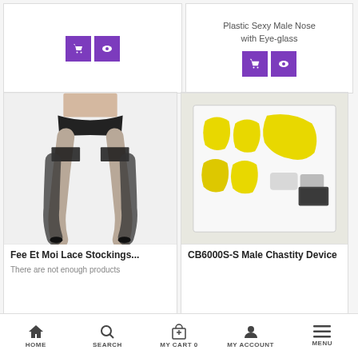[Figure (other): Top left product card with purple cart and eye buttons]
Plastic Sexy Male Nose with Eye-glass
[Figure (other): Top right product card showing Plastic Sexy Male Nose with Eye-glass, with purple cart and eye icon buttons]
[Figure (photo): Fee Et Moi Lace Stockings product image showing legs with black lace thigh-high stockings and heels]
Fee Et Moi Lace Stockings...
There are not enough products
[Figure (photo): CB6000S-S Male Chastity Device product image showing yellow plastic pieces in a white box]
CB6000S-S Male Chastity Device
HOME   SEARCH   MY CART 0   MY ACCOUNT   MENU